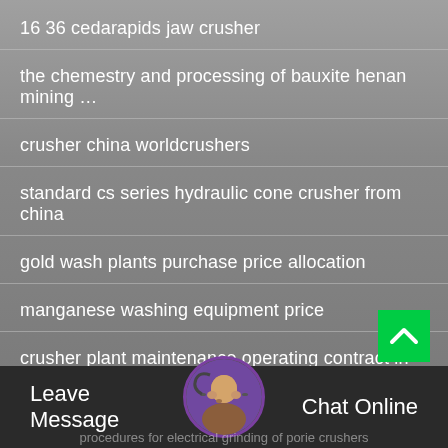16 36 cedarapids jaw crusher
the chemestry and processing of bauxite henan mining ...
crusher china worldcrushers
standard cs series hydraulic cone crusher from china
gold wash plants purchase price allocation
manganese washing equipment price
crusher plant maintenance operating contract in nig
Leave Message   Chat Online
procedures for electrical grinding of porie crushers